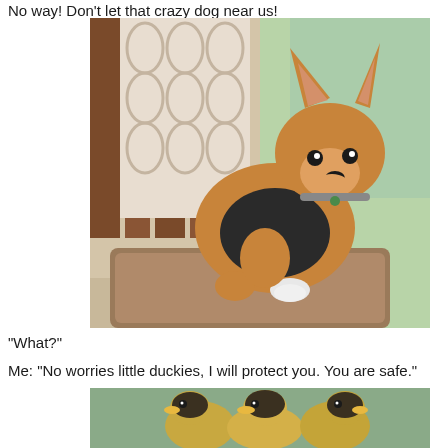No way! Don't let that crazy dog near us!
[Figure (photo): A Corgi dog sitting on a brown cushion near a wooden chair with a patterned curtain in the background, wearing a collar and looking at the camera.]
"What?"
Me: "No worries little duckies, I will protect you. You are safe."
[Figure (photo): Three small fluffy ducklings huddled together, yellow and dark colored.]